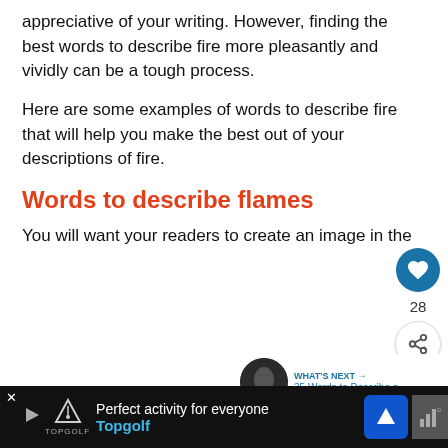appreciative of your writing. However, finding the best words to describe fire more pleasantly and vividly can be a tough process.
Here are some examples of words to describe fire that will help you make the best out of your descriptions of fire.
Words to describe flames
You will want your readers to create an image in their minds, so it's important that the flames lo... words
[Figure (other): Like button (heart icon in teal circle), count 28, and share button]
[Figure (other): What's Next card with thumbnail image and text: WHAT'S NEXT → 35 Words to Describe a...]
[Figure (other): Advertisement bar at bottom: Perfect activity for everyone - Topgolf, with navigation and sound icons]